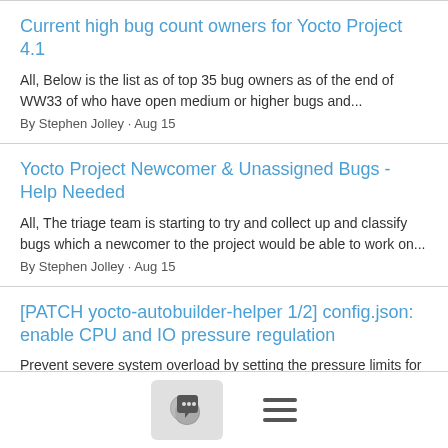Current high bug count owners for Yocto Project 4.1 | All, Below is the list as of top 35 bug owners as of the end of WW33 of who have open medium or higher bugs and... | By Stephen Jolley · Aug 15
Yocto Project Newcomer & Unassigned Bugs - Help Needed | All, The triage team is starting to try and collect up and classify bugs which a newcomer to the project would be able to work on... | By Stephen Jolley · Aug 15
[PATCH yocto-autobuilder-helper 1/2] config.json: enable CPU and IO pressure regulation | Prevent severe system overload by setting the pressure limits for CPU and IO at 10000. Signed-off-by: Aryaman Gupta... | By Aryaman Gupta · Aug 15
[Figure (screenshot): Bottom navigation bar with a chat/comment icon button on the left and a hamburger menu icon on the right]